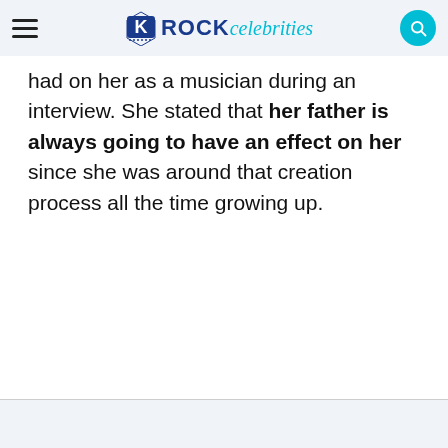Rock Celebrities
had on her as a musician during an interview. She stated that her father is always going to have an effect on her since she was around that creation process all the time growing up.